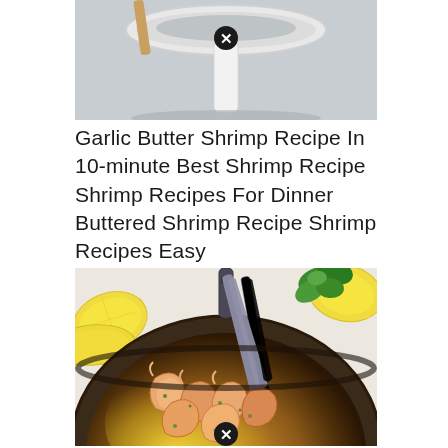[Figure (photo): Top portion of a white pan/pot containing liquid, photographed from above on a grey fabric background, with a close/dismiss button overlay]
Garlic Butter Shrimp Recipe In 10-minute Best Shrimp Recipe Shrimp Recipes For Dinner Buttered Shrimp Recipe Shrimp Recipes Easy
[Figure (photo): A metal skillet pan containing garlic butter shrimp in yellow sauce, garnished with parsley, with lemon wedges and fresh herbs on the side, two spoons in the pan, close/dismiss button overlay at bottom]